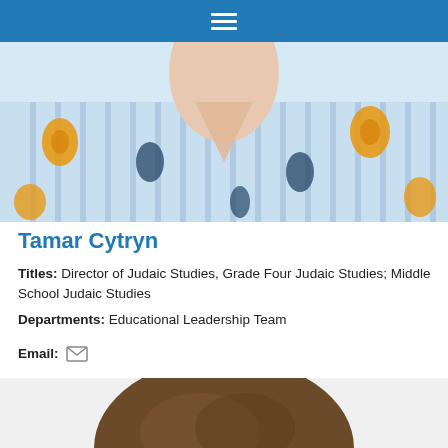Navigation menu
[Figure (photo): Top portion of a woman wearing a blue and white striped blouse with orange and dark floral pattern]
Tamar Cytryn
Titles: Director of Judaic Studies, Grade Four Judaic Studies; Middle School Judaic Studies
Departments: Educational Leadership Team
Email: [email icon]
[Figure (photo): Top of head and hair of another person, brown hair, cropped at the bottom of the page]